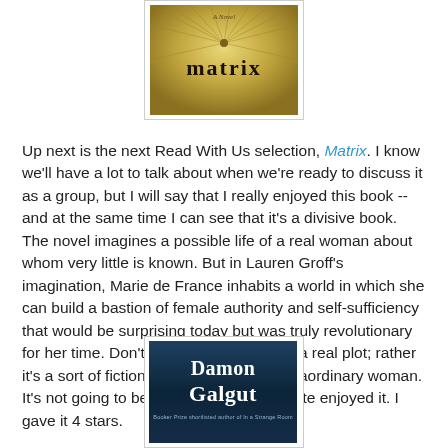[Figure (photo): Book cover of 'Matrix' showing gold/yellow rays emanating from a central point with the word 'matrix' in bold serif font]
Up next is the next Read With Us selection, Matrix. I know we'll have a lot to talk about when we're ready to discuss it as a group, but I will say that I really enjoyed this book -- and at the same time I can see that it's a divisive book. The novel imagines a possible life of a real woman about whom very little is known. But in Lauren Groff's imagination, Marie de France inhabits a world in which she can build a bastion of female authority and self-sufficiency that would be surprising today but was truly revolutionary for her time. Don't go into this expecting a real plot; rather it's a sort of fictional biography of an extraordinary woman. It's not going to be for everyone, but I quite enjoyed it. I gave it 4 stars.
[Figure (photo): Book cover of a Damon Galgut novel, dark blue background with author name in large white serif font, Booker Prize shortlisted]